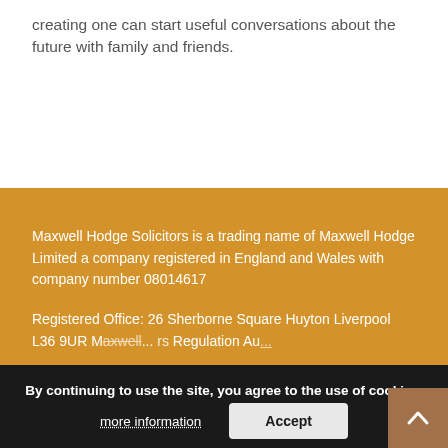creating one can start useful conversations about the future with family and friends.
Maxwell Hodge Solicitors is a trading name of Maxwell Hodge Limited a company registered in England and Wales with company number 08014617
Registered Office: 26 Sherborne Square Huyton Liverpool L36 9UR Maxwell Hodge Limited is Authorised and Regulated by the Solicitors Regulation Au...
By continuing to use the site, you agree to the use of cookies.
more information
Accept